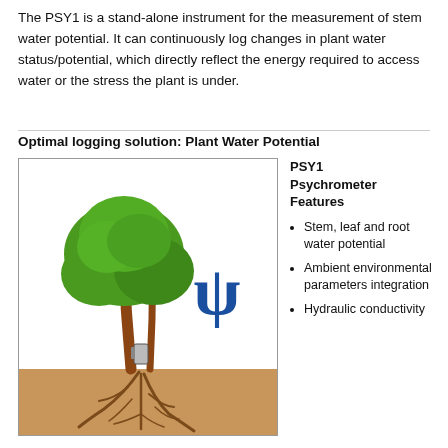The PSY1 is a stand-alone instrument for the measurement of stem water potential. It can continuously log changes in plant water status/potential, which directly reflect the energy required to access water or the stress the plant is under.
Optimal logging solution: Plant Water Potential
[Figure (illustration): Illustration of a tree with roots in soil labeled 'Measuring Plant Water Potential', with a psi (ψ) symbol and a PSY1 sensor attached to the trunk.]
PSY1 Psychrometer Features
Stem, leaf and root water potential
Ambient environmental parameters integration
Hydraulic conductivity